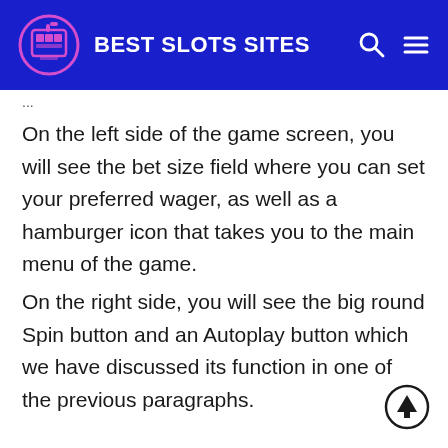BEST SLOTS SITES
On the left side of the game screen, you will see the bet size field where you can set your preferred wager, as well as a hamburger icon that takes you to the main menu of the game.
On the right side, you will see the big round Spin button and an Autoplay button which we have discussed its function in one of the previous paragraphs.